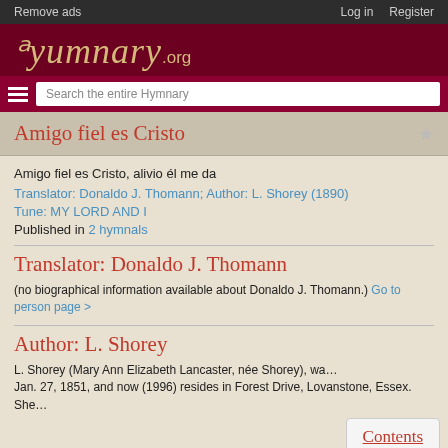Remove ads | Log in | Register
[Figure (logo): Hymnary.org logo — script text in gold on dark red background]
Amigo fiel es Cristo
Amigo fiel es Cristo, alivio él me da
Translator: Donaldo J. Thomann; Author: L. Shorey (1890)
Tune: MY LORD AND I
Published in 2 hymnals
Translator: Donaldo J. Thomann
(no biographical information available about Donaldo J. Thomann.) Go to person page >
Author: L. Shorey
L. Shorey (Mary Ann Elizabeth Lancaster, née Shorey), wa… Jan. 27, 1851, and now (1996) resides in Forest Drive, Lovanstone, Essex. She…